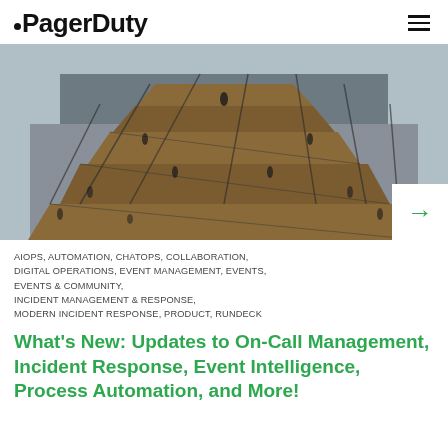PagerDuty
[Figure (photo): Aerial view of the Vessel structure at Hudson Yards, New York, showing people walking on interconnected honeycomb stairways with wood and metal railings.]
AIOPS, AUTOMATION, CHATOPS, COLLABORATION, DIGITAL OPERATIONS, EVENT MANAGEMENT, EVENTS, EVENTS & COMMUNITY, INCIDENT MANAGEMENT & RESPONSE, MODERN INCIDENT RESPONSE, PRODUCT, RUNDECK
What's New: Updates to On-Call Management, Incident Response, Event Intelligence, Process Automation, and More!